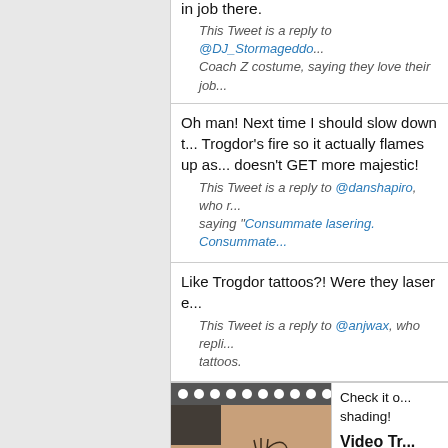in job there.
This Tweet is a reply to @DJ_Stormageddo... Coach Z costume, saying they love their job...
Oh man! Next time I should slow down t... Trogdor's fire so it actually flames up as... doesn't GET more majestic!
This Tweet is a reply to @danshapiro, who r... saying "Consummate lasering. Consummate...
Like Trogdor tattoos?! Were they laser e...
This Tweet is a reply to @anjwax, who repli... tattoos.
Check it o... shading!
Video Tr...
{A banjo-so... a black lase... of cardboar...
[Figure (photo): Film strip style video thumbnail showing a tattoo image with black line art on skin/cardboard background]